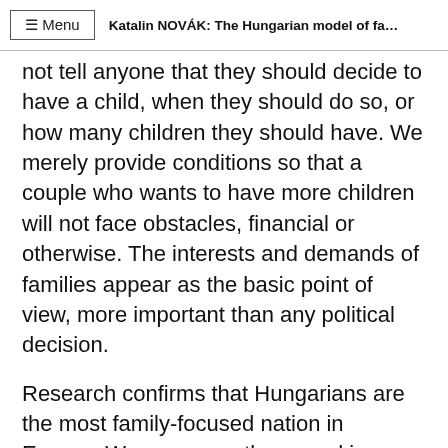≡ Menu   Katalin NOVÁK: The Hungarian model of family sup...
not tell anyone that they should decide to have a child, when they should do so, or how many children they should have. We merely provide conditions so that a couple who wants to have more children will not face obstacles, financial or otherwise. The interests and demands of families appear as the basic point of view, more important than any political decision.
Research confirms that Hungarians are the most family-focused nation in Europe. We are currently second in Europe in the percentage of people who consider it ideal to live in a large family. 9 out of 10 Hungarians think that instead